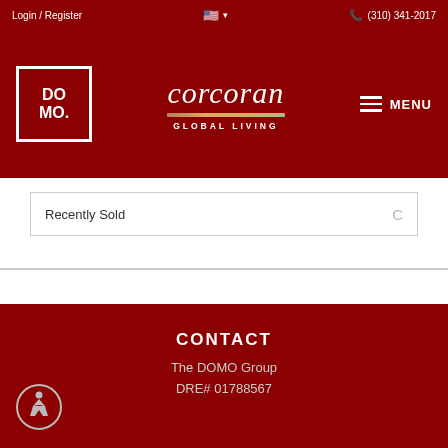Login / Register | (310) 341-2017
[Figure (logo): DOMO Group logo - white square with DO MO text inside]
[Figure (logo): Corcoran Global Living brand logo in white italic script with colored divider line]
MENU
Recently Sold
CONTACT
The DOMO Group
DRE# 01788567